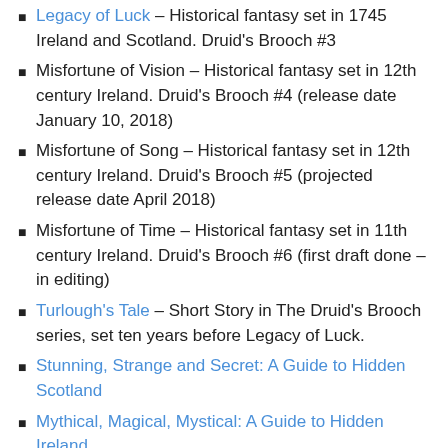Legacy of Luck – Historical fantasy set in 1745 Ireland and Scotland. Druid's Brooch #3
Misfortune of Vision – Historical fantasy set in 12th century Ireland. Druid's Brooch #4 (release date January 10, 2018)
Misfortune of Song – Historical fantasy set in 12th century Ireland. Druid's Brooch #5 (projected release date April 2018)
Misfortune of Time – Historical fantasy set in 11th century Ireland. Druid's Brooch #6 (first draft done – in editing)
Turlough's Tale – Short Story in The Druid's Brooch series, set ten years before Legacy of Luck.
Stunning, Strange and Secret: A Guide to Hidden Scotland
Mythical, Magical, Mystical: A Guide to Hidden Ireland